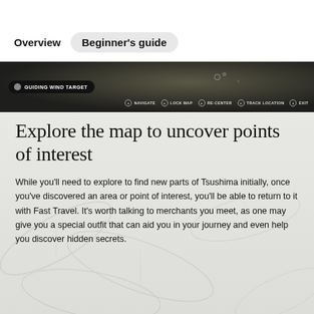Overview  Beginner's guide
[Figure (screenshot): In-game screenshot showing a dark map interface with 'GUIDING WIND TARGET' badge on the left and HUD icons (NAVIGATE, LOCK MAP, RE-CENTER, TRACK LOCATION, EXIT) on the bottom right]
Explore the map to uncover points of interest
While you'll need to explore to find new parts of Tsushima initially, once you've discovered an area or point of interest, you'll be able to return to it with Fast Travel. It's worth talking to merchants you meet, as one may give you a special outfit that can aid you in your journey and even help you discover hidden secrets.